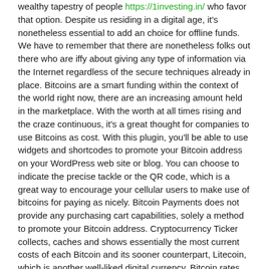wealthy tapestry of people https://1investing.in/ who favor that option. Despite us residing in a digital age, it's nonetheless essential to add an choice for offline funds. We have to remember that there are nonetheless folks out there who are iffy about giving any type of information via the Internet regardless of the secure techniques already in place. Bitcoins are a smart funding within the context of the world right now, there are an increasing amount held in the marketplace. With the worth at all times rising and the craze continuous, it's a great thought for companies to use Bitcoins as cost. With this plugin, you'll be able to use widgets and shortcodes to promote your Bitcoin address on your WordPress web site or blog. You can choose to indicate the precise tackle or the QR code, which is a great way to encourage your cellular users to make use of bitcoins for paying as nicely. Bitcoin Payments does not provide any purchasing cart capabilities, solely a method to promote your Bitcoin address. Cryptocurrency Ticker collects, caches and shows essentially the most current costs of each Bitcoin and its sooner counterpart, Litecoin, which is another well-liked digital currency. Bitcoin rates are obtained from mtgox.com and Litecoin prices come from btc-e.com, utilizing the APIs of those merchant options. In the plugin's description, the